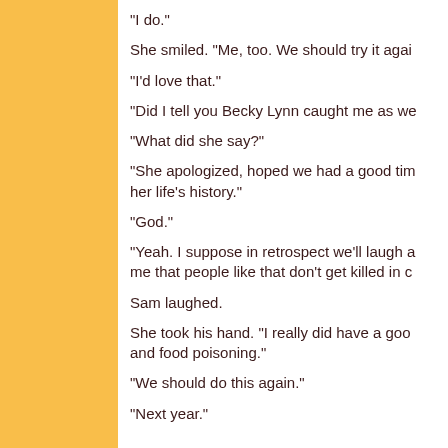"I do."
She smiled. "Me, too. We should try it agai...
"I'd love that."
"Did I tell you Becky Lynn caught me as we...
"What did she say?"
"She apologized, hoped we had a good tim... her life's history."
"God."
"Yeah. I suppose in retrospect we'll laugh a... me that people like that don't get killed in c...
Sam laughed.
She took his hand. "I really did have a goo... and food poisoning."
"We should do this again."
"Next year."